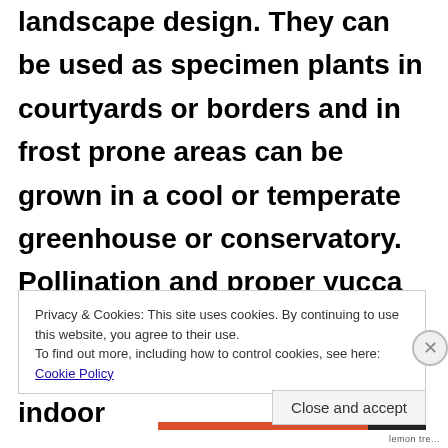landscape design. They can be used as specimen plants in courtyards or borders and in frost prone areas can be grown in a cool or temperate greenhouse or conservatory. Pollination and proper yucca care are necessary for the formation of these flowers on indoor
Privacy & Cookies: This site uses cookies. By continuing to use this website, you agree to their use. To find out more, including how to control cookies, see here: Cookie Policy
Close and accept